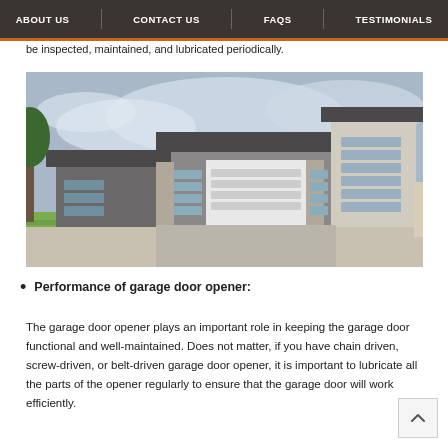ABOUT US | CONTACT US | FAQS | TESTIMONIALS
be inspected, maintained, and lubricated periodically.
[Figure (photo): Modern single-story house with gray exterior, multiple garage doors with glass panel accents, stone columns, and a concrete driveway with green lawn.]
Performance of garage door opener:
The garage door opener plays an important role in keeping the garage door functional and well-maintained. Does not matter, if you have chain driven, screw-driven, or belt-driven garage door opener, it is important to lubricate all the parts of the opener regularly to ensure that the garage door will work efficiently.